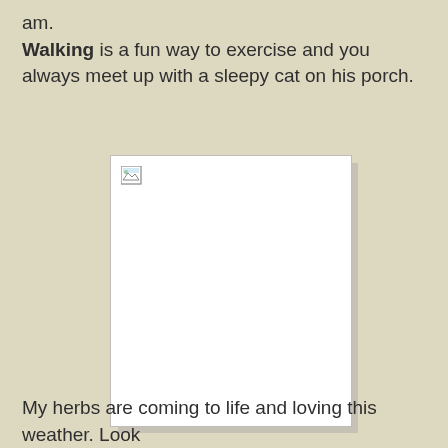am.
Walking is a fun way to exercise and you always meet up with a sleepy cat on his porch.
[Figure (photo): A broken/missing image placeholder (white rectangle with a broken image icon in the top-left corner)]
My herbs are coming to life and loving this weather. Look